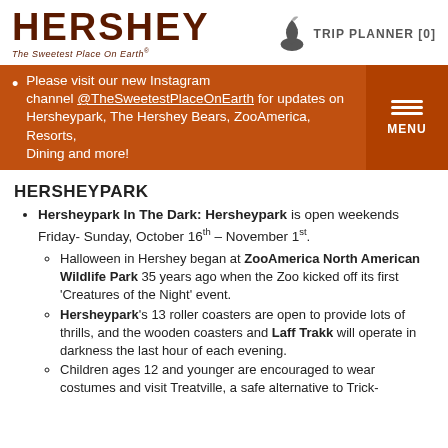HERSHEY The Sweetest Place On Earth® | TRIP PLANNER [0]
Please visit our new Instagram channel @TheSweetestPlaceOnEarth for updates on Hersheypark, The Hershey Bears, ZooAmerica, Resorts, Dining and more!
HERSHEYPARK
Hersheypark In The Dark: Hersheypark is open weekends Friday- Sunday, October 16th – November 1st.
Halloween in Hershey began at ZooAmerica North American Wildlife Park 35 years ago when the Zoo kicked off its first 'Creatures of the Night' event.
Hersheypark's 13 roller coasters are open to provide lots of thrills, and the wooden coasters and Laff Trakk will operate in darkness the last hour of each evening.
Children ages 12 and younger are encouraged to wear costumes and visit Treatville, a safe alternative to Trick-